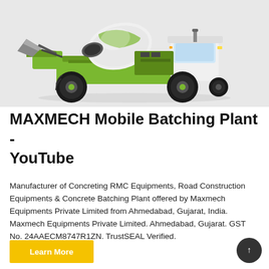[Figure (photo): A green and white self-loading mobile concrete mixer / batching plant machine with large black off-road tyres, shown on a light grey background.]
MAXMECH Mobile Batching Plant - YouTube
Manufacturer of Concreting RMC Equipments, Road Construction Equipments & Concrete Batching Plant offered by Maxmech Equipments Private Limited from Ahmedabad, Gujarat, India. Maxmech Equipments Private Limited. Ahmedabad, Gujarat. GST No. 24AAECM8747R1ZN. TrustSEAL Verified.